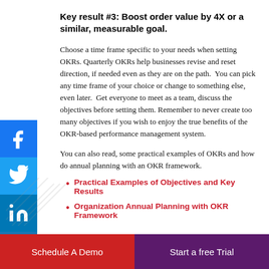Key result #3: Boost order value by 4X or a similar, measurable goal.
Choose a time frame specific to your needs when setting OKRs. Quarterly OKRs help businesses revise and reset direction, if needed even as they are on the path.  You can pick any time frame of your choice or change to something else, even later.  Get everyone to meet as a team, discuss the objectives before setting them. Remember to never create too many objectives if you wish to enjoy the true benefits of the OKR-based performance management system.
You can also read, some practical examples of OKRs and how do annual planning with an OKR framework.
Practical Examples of Objectives and Key Results
Organization Annual Planning with OKR Framework
Schedule A Demo  |  Start a free Trial